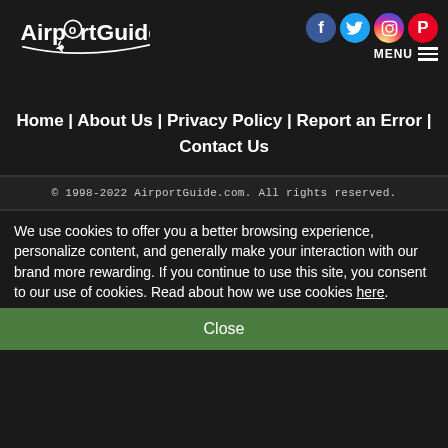[Figure (logo): AirportGuide logo with airplane icon and swoosh graphic, white text on dark background]
[Figure (infographic): Social media icons: Facebook (blue circle), Twitter (blue circle), Instagram (gradient circle), Pinterest (red circle), and MENU hamburger icon]
Home | About Us | Privacy Policy | Report an Error | Contact Us
© 1998-2022 AirportGuide.com. All rights reserved.
We use cookies to offer you a better browsing experience, personalize content, and generally make your interaction with our brand more rewarding. If you continue to use this site, you consent to our use of cookies. Read about how we use cookies here.
Close